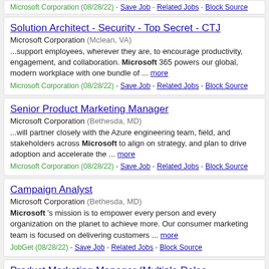Solution Architect - Security - Top Secret - CTJ | Microsoft Corporation (Mclean, VA) | ...support employees, wherever they are, to encourage productivity, engagement, and collaboration. Microsoft 365 powers our global, modern workplace with one bundle of ... more | Microsoft Corporation (08/28/22) - Save Job - Related Jobs - Block Source
Senior Product Marketing Manager | Microsoft Corporation (Bethesda, MD) | ...will partner closely with the Azure engineering team, field, and stakeholders across Microsoft to align on strategy, and plan to drive adoption and accelerate the ... more | Microsoft Corporation (08/28/22) - Save Job - Related Jobs - Block Source
Campaign Analyst | Microsoft Corporation (Bethesda, MD) | Microsoft 's mission is to empower every person and every organization on the planet to achieve more. Our consumer marketing team is focused on delivering customers ... more | JobGet (08/28/22) - Save Job - Related Jobs - Block Source
Product Marketing Manager (Multiple Roles,...